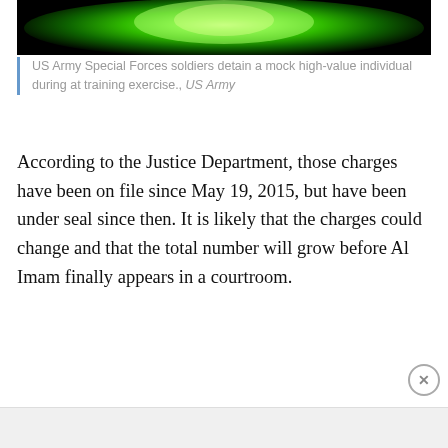[Figure (photo): Night-vision green tinted photo of US Army Special Forces soldiers detaining a mock high-value individual during a training exercise.]
US Army Special Forces soldiers detain a mock high-value individual during at training exercise., US Army
According to the Justice Department, those charges have been on file since May 19, 2015, but have been under seal since then. It is likely that the charges could change and that the total number will grow before Al Imam finally appears in a courtroom.